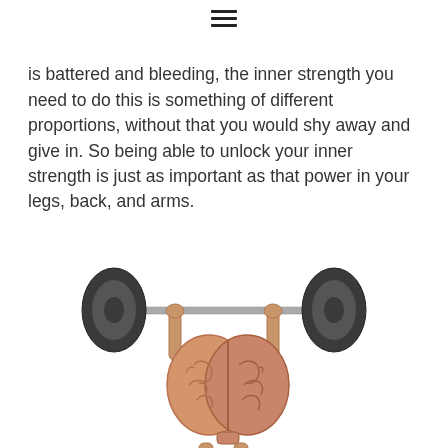☰
is battered and bleeding, the inner strength you need to do this is something of different proportions, without that you would shy away and give in. So being able to unlock your inner strength is just as important as that power in your legs, back, and arms.
[Figure (illustration): A 3D cartoon brain character with arms and legs, lifting a barbell overhead with weight plates on each end. The brain is rendered in pinkish-brown tones against a white background.]